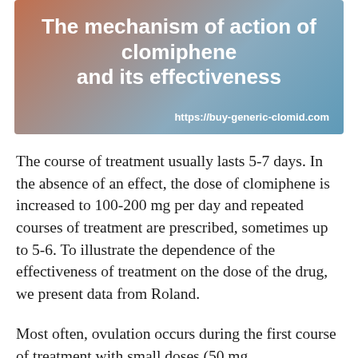[Figure (illustration): Header banner with gradient background (terracotta to blue), bold white title text 'The mechanism of action of clomiphene and its effectiveness', and URL 'https://buy-generic-clomid.com' in bottom right corner.]
The course of treatment usually lasts 5-7 days. In the absence of an effect, the dose of clomiphene is increased to 100-200 mg per day and repeated courses of treatment are prescribed, sometimes up to 5-6. To illustrate the dependence of the effectiveness of treatment on the dose of the drug, we present data from Roland.
Most often, ovulation occurs during the first course of treatment with small doses (50 mg per day). It observed, I am of I believe that it...